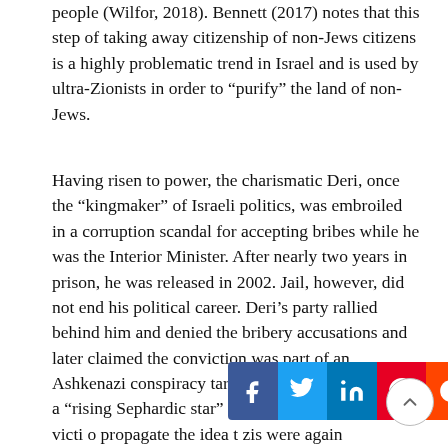people (Wilfor, 2018). Bennett (2017) notes that this step of taking away citizenship of non-Jews citizens is a highly problematic trend in Israel and is used by ultra-Zionists in order to “purify” the land of non-Jews.
Having risen to power, the charismatic Deri, once the “kingmaker” of Israeli politics, was embroiled in a corruption scandal for accepting bribes while he was the Interior Minister. After nearly two years in prison, he was released in 2002. Jail, however, did not end his political career. Deri’s party rallied behind him and denied the bribery accusations and later claimed the conviction was part of an Ashkenazi conspiracy targeting Deri because he was a “rising Sephardic star” (Leon, 2011: 102). This victi[m narrative was used t]o propagate the idea t[hat the Ashkena]zis were again
[Figure (infographic): Social media share bar with Facebook (blue), Twitter (light blue), LinkedIn (dark blue), Pinterest (red), and Reddit (orange) icons, overlapping the bottom of the text.]